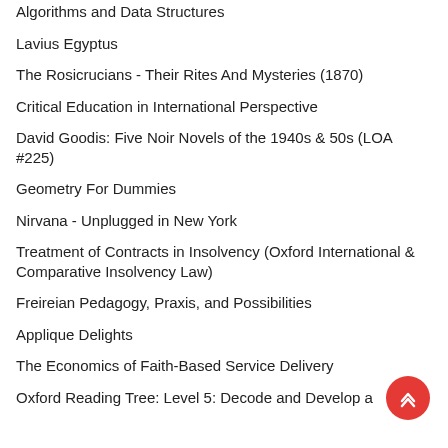Algorithms and Data Structures
Lavius Egyptus
The Rosicrucians - Their Rites And Mysteries (1870)
Critical Education in International Perspective
David Goodis: Five Noir Novels of the 1940s & 50s (LOA #225)
Geometry For Dummies
Nirvana - Unplugged in New York
Treatment of Contracts in Insolvency (Oxford International & Comparative Insolvency Law)
Freireian Pedagogy, Praxis, and Possibilities
Applique Delights
The Economics of Faith-Based Service Delivery
Oxford Reading Tree: Level 5: Decode and Develop a